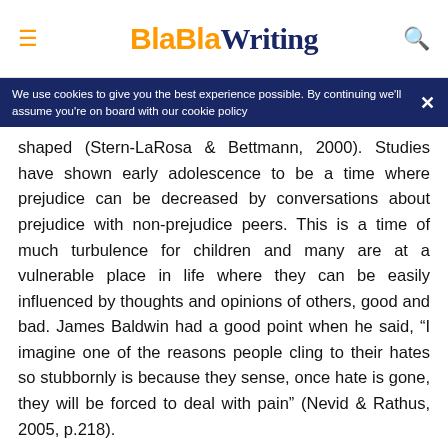BlaBlaWriting
We use cookies to give you the best experience possible. By continuing we'll assume you're on board with our cookie policy
shaped (Stern-LaRosa & Bettmann, 2000). Studies have shown early adolescence to be a time where prejudice can be decreased by conversations about prejudice with non-prejudice peers. This is a time of much turbulence for children and many are at a vulnerable place in life where they can be easily influenced by thoughts and opinions of others, good and bad. James Baldwin had a good point when he said, “I imagine one of the reasons people cling to their hates so stubbornly is because they sense, once hate is gone, they will be forced to deal with pain” (Nevid & Rathus, 2005, p.218).
Now We Know When Prejudice Starts What Can We Do?